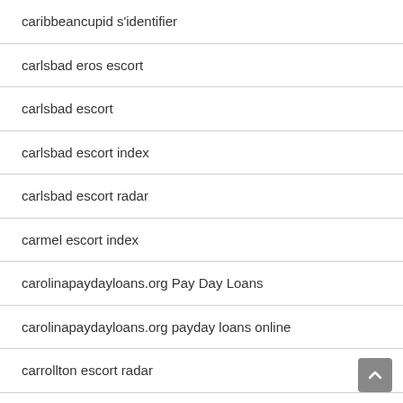caribbeancupid s'identifier
carlsbad eros escort
carlsbad escort
carlsbad escort index
carlsbad escort radar
carmel escort index
carolinapaydayloans.org Pay Day Loans
carolinapaydayloans.org payday loans online
carrollton escort radar
cary escort directory
cash america payday loan
cash america payday loans online
cash central near me